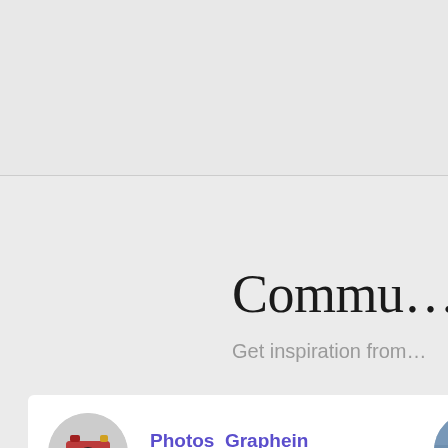Commu…
Get inspiration from…
[Figure (screenshot): Community photo sharing page screenshot showing two user cards. Left card: Photos_Graphein, Lago Maggiore, with a dark underwater/coral macro photo. Right card: partially visible user Nab… with Hua… text and a person standing on a beach. A gray up-arrow button is visible on the right.]